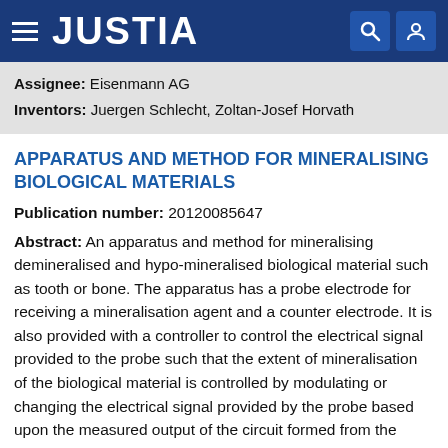JUSTIA
Assignee: Eisenmann AG
Inventors: Juergen Schlecht, Zoltan-Josef Horvath
APPARATUS AND METHOD FOR MINERALISING BIOLOGICAL MATERIALS
Publication number: 20120085647
Abstract: An apparatus and method for mineralising demineralised and hypo-mineralised biological material such as tooth or bone. The apparatus has a probe electrode for receiving a mineralisation agent and a counter electrode. It is also provided with a controller to control the electrical signal provided to the probe such that the extent of mineralisation of the biological material is controlled by modulating or changing the electrical signal provided by the probe based upon the measured output of the circuit formed from the probe, counter electrode and biological material. The electrical